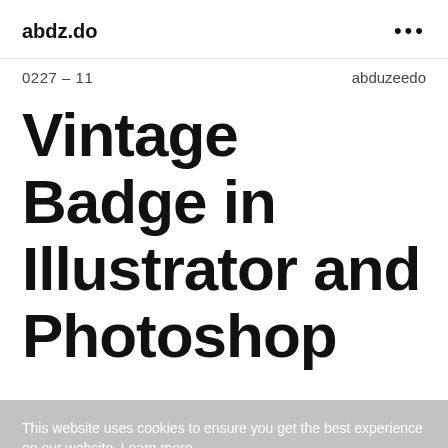abdz.do
0227 – 11    abduzeedo
Vintage Badge in Illustrator and Photoshop
This website uses cookies to ensure you get the best experience on our website. Learn more
It's been more than two weeks since I've finally moved
ananently to California, USA. Before the big move, I
Purchasers of certain Roundup®, HDX®, or Ace® brand weed killer products may be eligible for a cash payment from a class action settlement. Visit www.WeedKillerAdSettlement.com to learn more